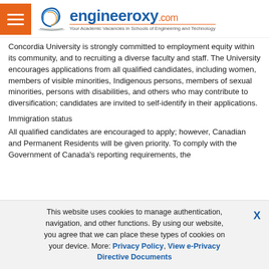[Figure (logo): engineeroxy.com logo with tagline 'Your Academic Vacancies in Schools of Engineering and Technology']
Concordia University is strongly committed to employment equity within its community, and to recruiting a diverse faculty and staff. The University encourages applications from all qualified candidates, including women, members of visible minorities, Indigenous persons, members of sexual minorities, persons with disabilities, and others who may contribute to diversification; candidates are invited to self-identify in their applications.
Immigration status
All qualified candidates are encouraged to apply; however, Canadian and Permanent Residents will be given priority. To comply with the Government of Canada's reporting requirements, the
This website uses cookies to manage authentication, navigation, and other functions. By using our website, you agree that we can place these types of cookies on your device. More: Privacy Policy, View e-Privacy Directive Documents